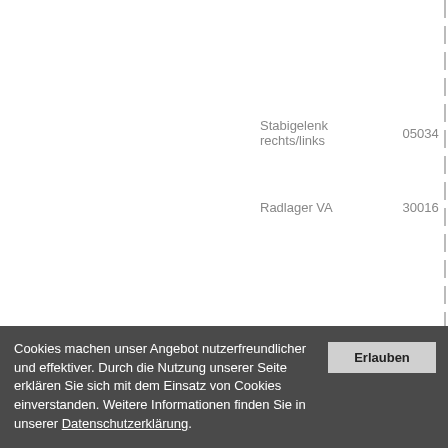Stabigelenk rechts/links  05034
Radlager VA  30016
Cookies machen unser Angebot nutzerfreundlicher und effektiver. Durch die Nutzung unserer Seite erklären Sie sich mit dem Einsatz von Cookies einverstanden. Weitere Informationen finden Sie in unserer Datenschutzerklärung.